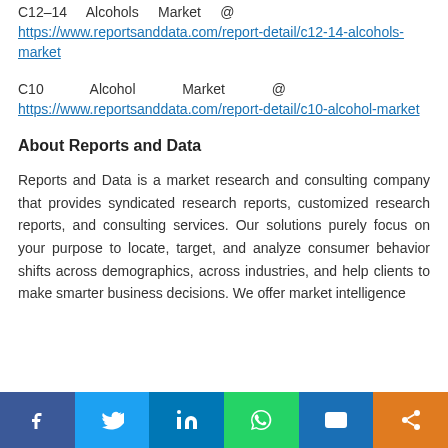C12-14    Alcohols    Market    @ https://www.reportsanddata.com/report-detail/c12-14-alcohols-market
C10    Alcohol    Market    @ https://www.reportsanddata.com/report-detail/c10-alcohol-market
About Reports and Data
Reports and Data is a market research and consulting company that provides syndicated research reports, customized research reports, and consulting services. Our solutions purely focus on your purpose to locate, target, and analyze consumer behavior shifts across demographics, across industries, and help clients to make smarter business decisions. We offer market intelligence